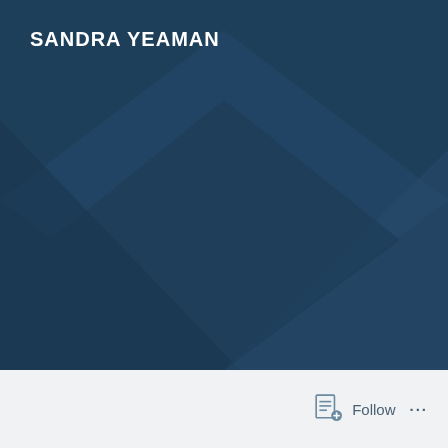[Figure (illustration): Abstract geometric background with dark blue tones and overlapping diamond/triangular shapes creating a layered effect]
SANDRA YEAMAN
Follow
...